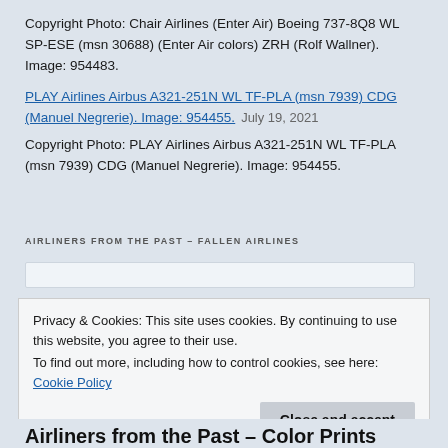Copyright Photo: Chair Airlines (Enter Air) Boeing 737-8Q8 WL SP-ESE (msn 30688) (Enter Air colors) ZRH (Rolf Wallner). Image: 954483.
PLAY Airlines Airbus A321-251N WL TF-PLA (msn 7939) CDG (Manuel Negrerie). Image: 954455.   July 19, 2021
Copyright Photo: PLAY Airlines Airbus A321-251N WL TF-PLA (msn 7939) CDG (Manuel Negrerie). Image: 954455.
AIRLINERS FROM THE PAST – FALLEN AIRLINES
Privacy & Cookies: This site uses cookies. By continuing to use this website, you agree to their use.
To find out more, including how to control cookies, see here: Cookie Policy
Close and accept
Airliners from the Past – Color Prints